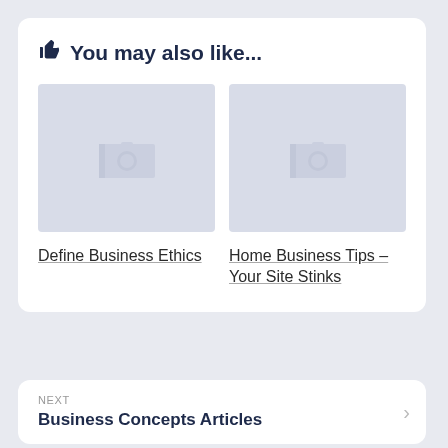👍 You may also like...
[Figure (photo): Placeholder thumbnail image (camera icon on grey background) for Define Business Ethics article]
[Figure (photo): Placeholder thumbnail image (camera icon on grey background) for Home Business Tips – Your Site Stinks article]
Define Business Ethics
Home Business Tips – Your Site Stinks
NEXT
Business Concepts Articles